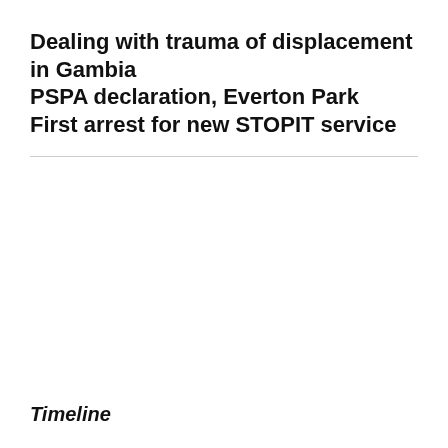Dealing with trauma of displacement in Gambia
PSPA declaration, Everton Park
First arrest for new STOPIT service
Timeline